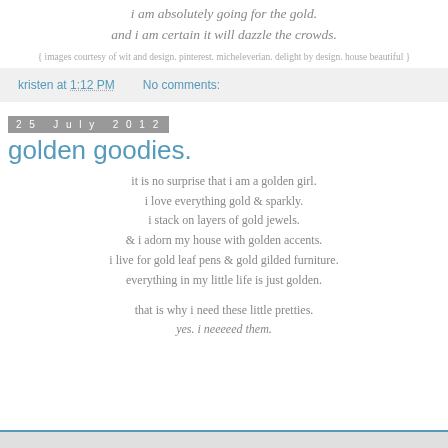i am absolutely going for the gold.
and i am certain it will dazzle the crowds.
{ images courtesy of wit and design. pinterest. micheleverian. delight by design. house beautiful }
kristen at 1:12 PM    No comments:
25 July 2012
golden goodies.
it is no surprise that i am a golden girl.
i love everything gold & sparkly.
i stack on layers of gold jewels.
& i adorn my house with golden accents.
i live for gold leaf pens & gold gilded furniture.
everything in my little life is just golden.

that is why i need these little pretties.
yes. i neeeeed them.